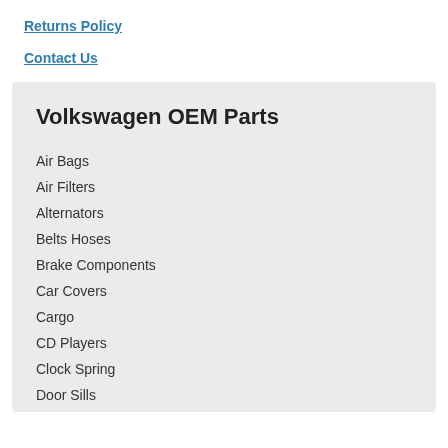Returns Policy
Contact Us
Volkswagen OEM Parts
Air Bags
Air Filters
Alternators
Belts Hoses
Brake Components
Car Covers
Cargo
CD Players
Clock Spring
Door Sills
Enhanced Mirrors